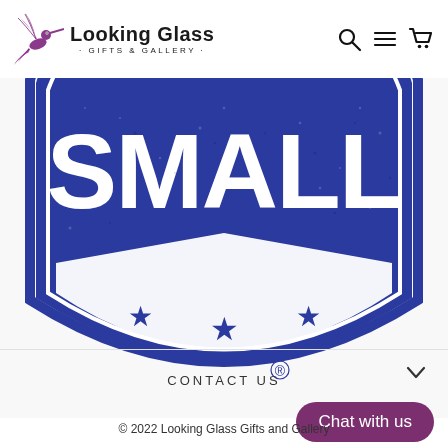Looking Glass · GIFTS & GALLERY ·
[Figure (logo): Half-circle badge stamp with the word SMALL in large white bold letters on a blue background, with a white banner and three blue stars below, and a registered trademark symbol at the bottom center.]
CONTACT US
Chat with us
© 2022 Looking Glass Gifts and Gallery